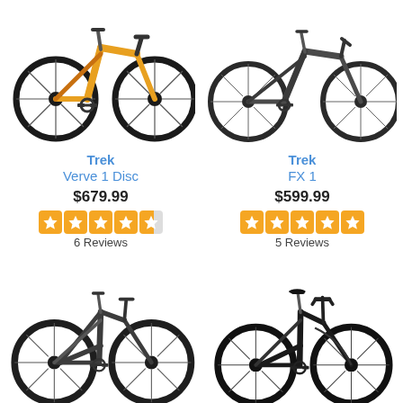[Figure (photo): Orange Trek Verve 1 Disc bicycle photo, top-left]
Trek
Verve 1 Disc
$679.99
6 Reviews
[Figure (photo): Dark grey Trek FX 1 bicycle photo, top-right]
Trek
FX 1
$599.99
5 Reviews
[Figure (photo): Dark grey women's step-through bicycle photo, bottom-left]
[Figure (photo): Black step-through city bicycle photo, bottom-right]